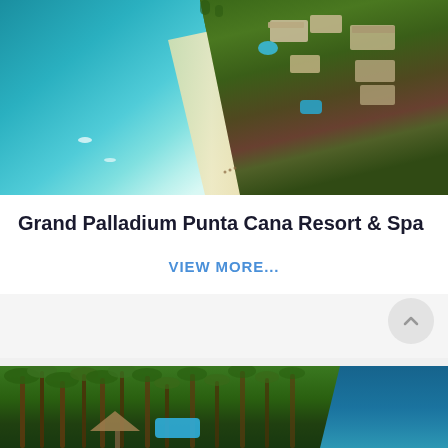[Figure (photo): Aerial view of Grand Palladium Punta Cana Resort & Spa showing turquoise sea water on the left, a sandy beach strip, and resort buildings surrounded by lush tropical vegetation on the right]
Grand Palladium Punta Cana Resort & Spa
VIEW MORE...
[Figure (photo): Aerial view of a tropical resort with dense palm trees, a water slide or pool area, and ocean visible in the background]